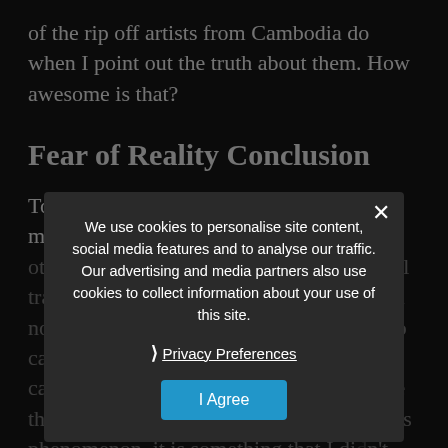of the rip off artists from Cambodia do when I point out the truth about them. How awesome is that?
Fear of Reality Conclusion
To sum it up, my quest to find out why so many otherwise seemingly intelligent and/or well traveled people fail to see the predator will not hesitate to verbally assault anyone who calls a spade a spade led me to this thing called Fear of Reality. While I may not be the first person to have found out about this phenomenon, it is something that I didn't know existed so discovering it on my own affirmed me that I
We use cookies to personalise site content, social media features and to analyse our traffic. Our advertising and media partners also use cookies to collect information about your use of this site.
Privacy Preferences
I Agree